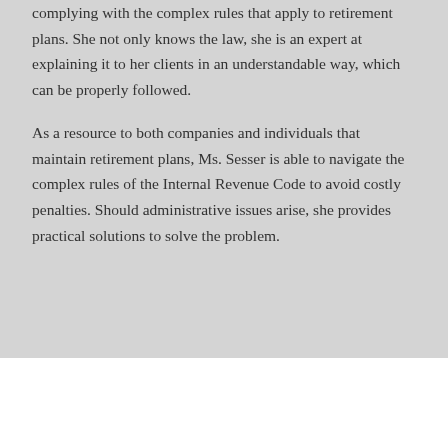complying with the complex rules that apply to retirement plans. She not only knows the law, she is an expert at explaining it to her clients in an understandable way, which can be properly followed.
As a resource to both companies and individuals that maintain retirement plans, Ms. Sesser is able to navigate the complex rules of the Internal Revenue Code to avoid costly penalties. Should administrative issues arise, she provides practical solutions to solve the problem.